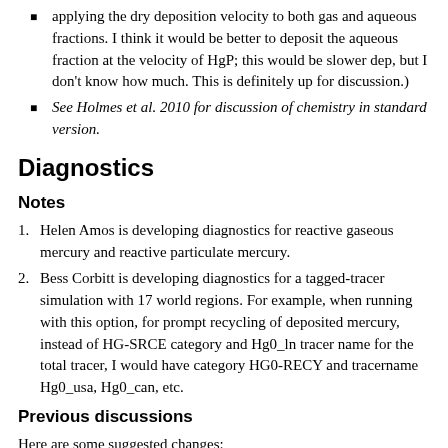applying the dry deposition velocity to both gas and aqueous fractions. I think it would be better to deposit the aqueous fraction at the velocity of HgP; this would be slower dep, but I don't know how much. This is definitely up for discussion.)
See Holmes et al. 2010 for discussion of chemistry in standard version.
Diagnostics
Notes
Helen Amos is developing diagnostics for reactive gaseous mercury and reactive particulate mercury.
Bess Corbitt is developing diagnostics for a tagged-tracer simulation with 17 world regions. For example, when running with this option, for prompt recycling of deposited mercury, instead of HG-SRCE category and Hg0_ln tracer name for the total tracer, I would have category HG0-RECY and tracername Hg0_usa, Hg0_can, etc.
Previous discussions
Here are some suggested changes: